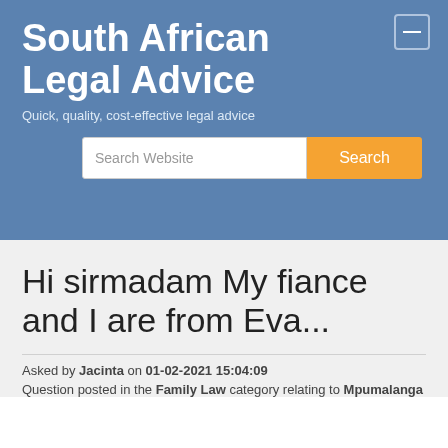South African Legal Advice
Quick, quality, cost-effective legal advice
Hi sirmadam My fiance and I are from Eva...
Asked by Jacinta on 01-02-2021 15:04:09
Question posted in the Family Law category relating to Mpumalanga